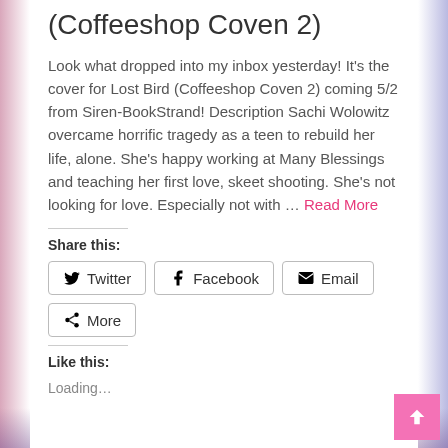(Coffeeshop Coven 2)
Look what dropped into my inbox yesterday! It's the cover for Lost Bird (Coffeeshop Coven 2) coming 5/2 from Siren-BookStrand! Description Sachi Wolowitz overcame horrific tragedy as a teen to rebuild her life, alone. She's happy working at Many Blessings and teaching her first love, skeet shooting. She's not looking for love. Especially not with … Read More
Share this:
Twitter
Facebook
Email
More
Like this:
Loading...